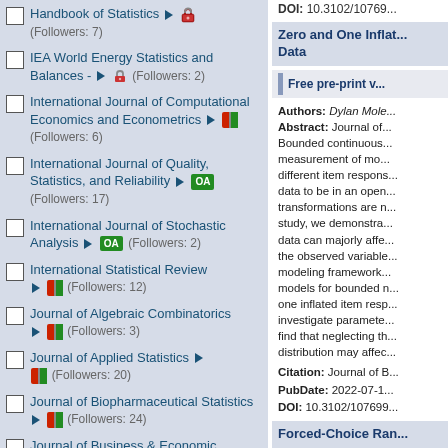Handbook of Statistics ▶ 🔒 (Followers: 7)
IEA World Energy Statistics and Balances - ▶ 🔒 (Followers: 2)
International Journal of Computational Economics and Econometrics ▶ 🟥 (Followers: 6)
International Journal of Quality, Statistics, and Reliability ▶ OA (Followers: 17)
International Journal of Stochastic Analysis ▶ OA (Followers: 2)
International Statistical Review ▶ 🟥 (Followers: 12)
Journal of Algebraic Combinatorics ▶ 🟥 (Followers: 3)
Journal of Applied Statistics ▶ 🟥 (Followers: 20)
Journal of Biopharmaceutical Statistics ▶ 🟥 (Followers: 24)
Journal of Business & Economic Statistics ▶ 🔒 (Followers: 40,
DOI: 10.3102/10769...
Zero and One Inflated... Data
Free pre-print v...
Authors: Dylan Mole...
Abstract: Journal of... Bounded continuous... measurement of mo... different item respons... data to be in an open... transformations are n... study, we demonstra... data can majorly affe... the observed variable... modeling framework... models for bounded n... one inflated item resp... investigate paramete... find that neglecting th... distribution may affec...
Citation: Journal of B...
PubDate: 2022-07-1...
DOI: 10.3102/107699...
Forced-Choice Ran...
Free pre-print v...